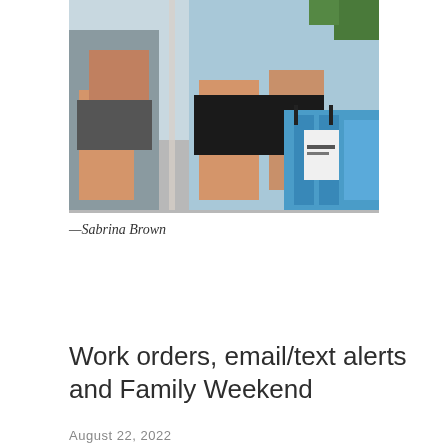[Figure (photo): Outdoor photo showing people in athletic wear bending over near blue bags and equipment, shot from a close angle showing legs and torsos.]
—Sabrina Brown
Work orders, email/text alerts and Family Weekend
August 22, 2022